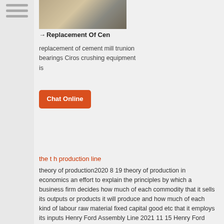[Figure (photo): Photograph of cement mill or industrial machinery equipment]
→ Replacement Of Cen
replacement of cement mill trunion bearings Ciros crushing equipment is
Chat Online
the t h production line
theory of production2020 8 19 theory of production in economics an effort to explain the principles by which a business firm decides how much of each commodity that it sells its outputs or products it will produce and how much of each kind of labour raw material fixed capital good etc that it employs its inputs Henry Ford Assembly Line 2021 11 15 Henry Ford combined interchangeable parts with subdivided labor and fluid movement of materials to create his moving assembly line in 1913 The resulting productivity gains and price cuts led manufacturers of every type to adopt Ford's innovative production methods This Expert Set was